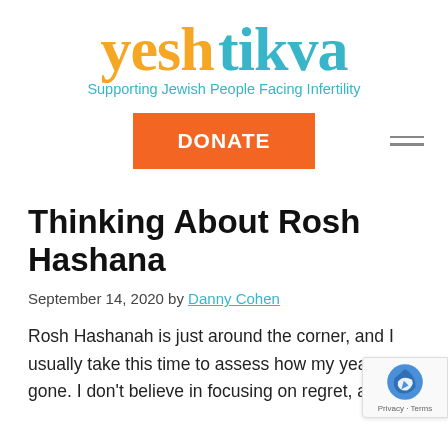[Figure (logo): Yesh Tikva logo with 'yesh' in orange and 'tikva' in teal, with tagline 'Supporting Jewish People Facing Infertility']
DONATE
Thinking About Rosh Hashana
September 14, 2020 by Danny Cohen
Rosh Hashanah is just around the corner, and I usually take this time to assess how my year has gone. I don't believe in focusing on regret, and